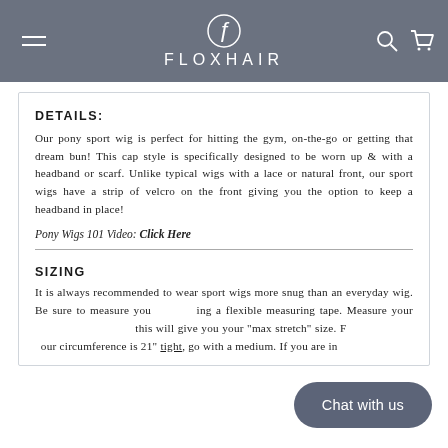FLOXHAIR
DETAILS:
Our pony sport wig is perfect for hitting the gym, on-the-go or getting that dream bun! This cap style is specifically designed to be worn up & with a headband or scarf. Unlike typical wigs with a lace or natural front, our sport wigs have a strip of velcro on the front giving you the option to keep a headband in place!
Pony Wigs 101 Video: Click Here
SIZING
It is always recommended to wear sport wigs more snug than an everyday wig. Be sure to measure your head using a flexible measuring tape. Measure your head fully stretched, this will give you your "max stretch" size. For example, if your circumference is 21" tight, go with a medium. If you are in